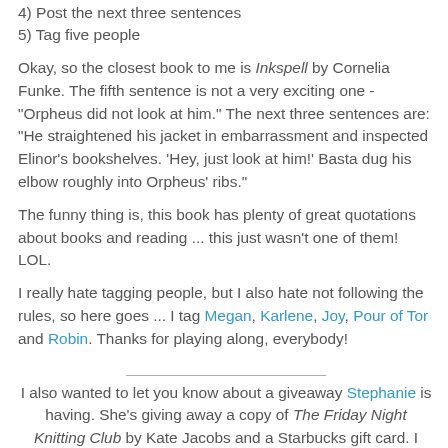4) Post the next three sentences
5) Tag five people
Okay, so the closest book to me is Inkspell by Cornelia Funke. The fifth sentence is not a very exciting one - "Orpheus did not look at him." The next three sentences are: "He straightened his jacket in embarrassment and inspected Elinor's bookshelves. 'Hey, just look at him!' Basta dug his elbow roughly into Orpheus' ribs."
The funny thing is, this book has plenty of great quotations about books and reading ... this just wasn't one of them! LOL.
I really hate tagging people, but I also hate not following the rules, so here goes ... I tag Megan, Karlene, Joy, Pour of Tor and Robin. Thanks for playing along, everybody!
I also wanted to let you know about a giveaway Stephanie is having. She's giving away a copy of The Friday Night Knitting Club by Kate Jacobs and a Starbucks gift card. I